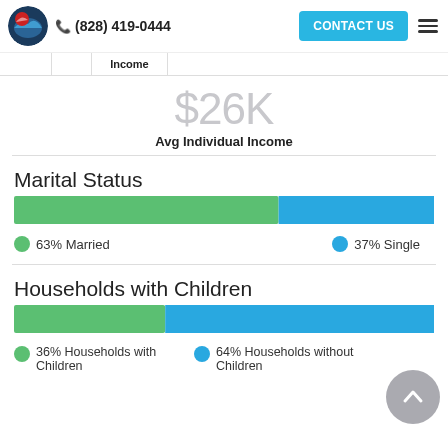(828) 419-0444 | CONTACT US
$26K
Avg Individual Income
Marital Status
[Figure (stacked-bar-chart): Marital Status]
63% Married
37% Single
Households with Children
[Figure (stacked-bar-chart): Households with Children]
36% Households with Children
64% Households without Children